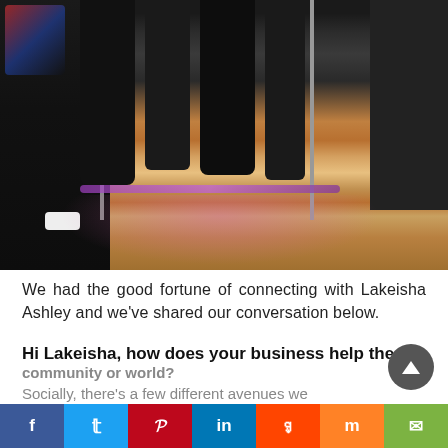[Figure (photo): A person in black clothing sitting/crouching in a clothing boutique with racks of dark clothes, wooden floor with pink/purple lighting, and another person standing in background.]
We had the good fortune of connecting with Lakeisha Ashley and we've shared our conversation below.
Hi Lakeisha, how does your business help the community or world?
Socially, there's a few different avenues we